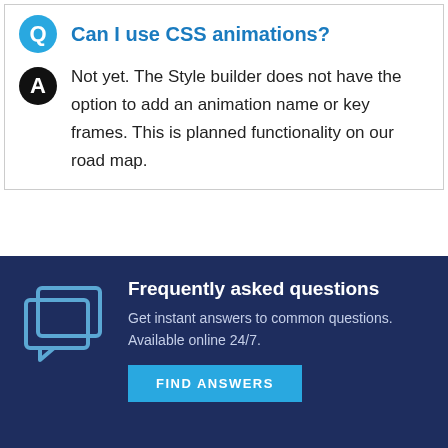Can I use CSS animations?
Not yet. The Style builder does not have the option to add an animation name or key frames. This is planned functionality on our road map.
Frequently asked questions
Get instant answers to common questions. Available online 24/7.
FIND ANSWERS